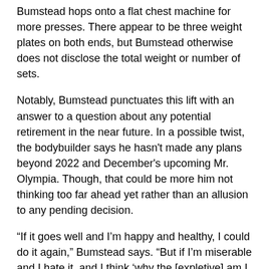Bumstead hops onto a flat chest machine for more presses. There appear to be three weight plates on both ends, but Bumstead otherwise does not disclose the total weight or number of sets.
Notably, Bumstead punctuates this lift with an answer to a question about any potential retirement in the near future. In a possible twist, the bodybuilder says he hasn't made any plans beyond 2022 and December's upcoming Mr. Olympia. Though, that could be more him not thinking too far ahead yet rather than an allusion to any pending decision.
“If it goes well and I’m happy and healthy, I could do it again,” Bumstead says. “But if I’m miserable and I hate it, and I think ‘why the [expletive] am I doing this to myself?’ and I’m done and that wasn’t worth it, then I’ll probably be over it.”